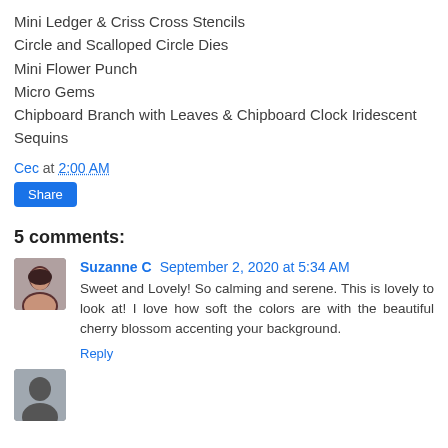Mini Ledger & Criss Cross Stencils
Circle and Scalloped Circle Dies
Mini Flower Punch
Micro Gems
Chipboard Branch with Leaves & Chipboard Clock Iridescent Sequins
Cec at 2:00 AM
Share
5 comments:
Suzanne C September 2, 2020 at 5:34 AM
Sweet and Lovely! So calming and serene. This is lovely to look at! I love how soft the colors are with the beautiful cherry blossom accenting your background.
Reply